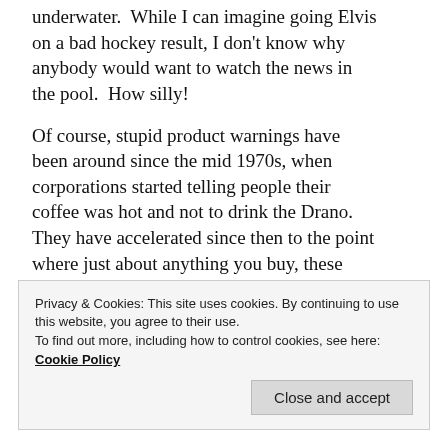underwater.  While I can imagine going Elvis on a bad hockey result, I don't know why anybody would want to watch the news in the pool.  How silly!
Of course, stupid product warnings have been around since the mid 1970s, when corporations started telling people their coffee was hot and not to drink the Drano.  They have accelerated since then to the point where just about anything you buy, these days, comes with a checklist of “thou shalt nots” longer than the Ten Commandants.  For example (and these are just a few simple ones)
Privacy & Cookies: This site uses cookies. By continuing to use this website, you agree to their use.
To find out more, including how to control cookies, see here: Cookie Policy
Close and accept